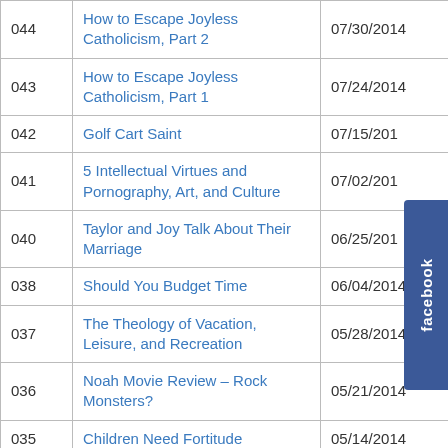| # | Title | Date |
| --- | --- | --- |
| 044 | How to Escape Joyless Catholicism, Part 2 | 07/30/2014 |
| 043 | How to Escape Joyless Catholicism, Part 1 | 07/24/2014 |
| 042 | Golf Cart Saint | 07/15/2014 |
| 041 | 5 Intellectual Virtues and Pornography, Art, and Culture | 07/02/2014 |
| 040 | Taylor and Joy Talk About Their Marriage | 06/25/2014 |
| 038 | Should You Budget Time | 06/04/2014 |
| 037 | The Theology of Vacation, Leisure, and Recreation | 05/28/2014 |
| 036 | Noah Movie Review – Rock Monsters? | 05/21/2014 |
| 035 | Children Need Fortitude | 05/14/2014 |